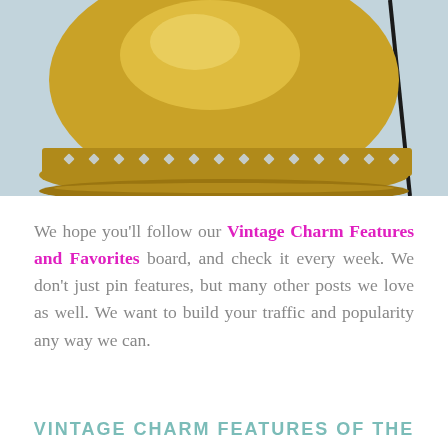[Figure (photo): Close-up photograph of a brass lamp base with decorative cutout pattern along the rim, against a light blue-grey background. A black cord is visible on the right side.]
We hope you'll follow our Vintage Charm Features and Favorites board, and check it every week. We don't just pin features, but many other posts we love as well. We want to build your traffic and popularity any way we can.
VINTAGE CHARM FEATURES OF THE